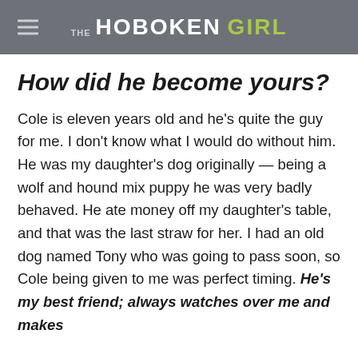THE HOBOKEN GIRL
How did he become yours?
Cole is eleven years old and he’s quite the guy for me. I don’t know what I would do without him. He was my daughter’s dog originally — being a wolf and hound mix puppy he was very badly behaved. He ate money off my daughter’s table, and that was the last straw for her. I had an old dog named Tony who was going to pass soon, so Cole being given to me was perfect timing. He’s my best friend; always watches over me and makes